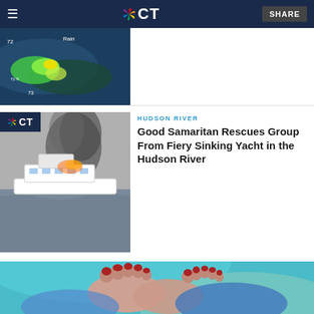NBC CT
[Figure (screenshot): NBC CT weather map showing radar with green/yellow storm cells and temperature readings over Connecticut region]
[Figure (screenshot): NBC CT branded thumbnail showing a large yacht on the Hudson River with smoke/fire rising from it, gray overcast sky]
HUDSON RIVER
Good Samaritan Rescues Group From Fiery Sinking Yacht in the Hudson River
[Figure (photo): Close-up photo of feet with red toenail polish being held by medical gloved hands against a teal medical uniform background]